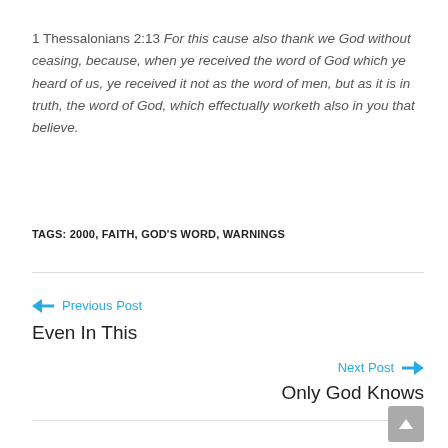1 Thessalonians 2:13 For this cause also thank we God without ceasing, because, when ye received the word of God which ye heard of us, ye received it not as the word of men, but as it is in truth, the word of God, which effectually worketh also in you that believe.
TAGS: 2000, FAITH, GOD'S WORD, WARNINGS
← Previous Post
Even In This
Next Post →
Only God Knows